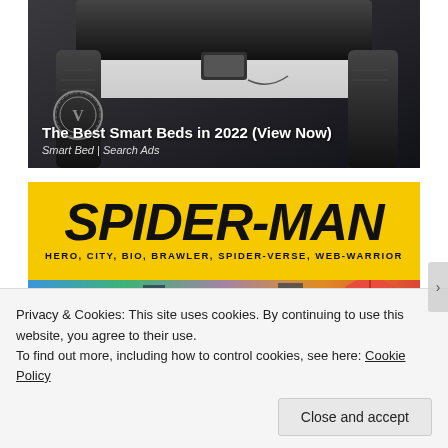[Figure (photo): Advertisement image of a luxury smart bed with dark upholstery and Versace-style logo. Text overlay reads 'The Best Smart Beds in 2022 (View Now)' and 'Smart Bed | Search Ads']
[Figure (photo): Spider-Man promotional banner with yellow background showing large bold 'SPIDER-MAN' text and subtitle 'HERO, CITY, BIO, BRAWLER, SPIDER-VERSE, WEB-WARRIOR'. Bottom section shows colorful Spider-Man character illustrations.]
Privacy & Cookies: This site uses cookies. By continuing to use this website, you agree to their use.
To find out more, including how to control cookies, see here: Cookie Policy